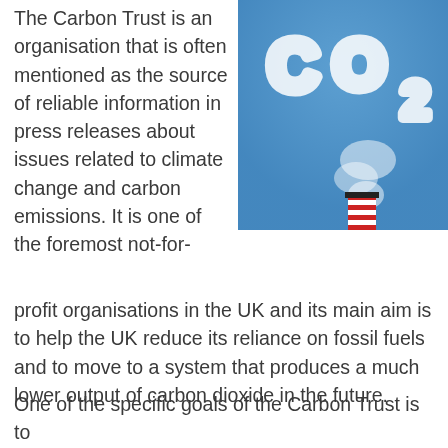The Carbon Trust is an organisation that is often mentioned as the source of reliable information in press releases about issues related to climate change and carbon emissions. It is one of the foremost not-for-profit organisations in the UK and its main aim is to help the UK reduce its reliance on fossil fuels and to move to a system that produces a much lower output of carbon dioxide in the future.
[Figure (photo): Photo of a red and white striped industrial chimney emitting white smoke shaped like CO2 against a blue sky]
One of the specific goals of the Carbon Trust is to